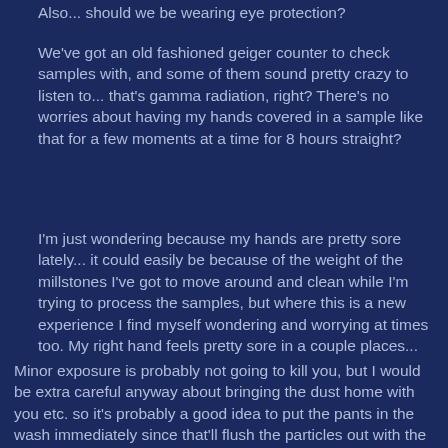Also... should we be wearing eye protection?
We've got an old fashioned geiger counter to check samples with, and some of them sound pretty crazy to listen to... that's gamma radiation, right? There's no worries about having my hands covered in a sample like that for a few moments at a time for 8 hours straight?
I'm just wondering because my hands are pretty sore lately... it could easily be because of the weight of the millstones I've got to move around and clean while I'm trying to process the samples, but where this is a new experience I find myself wondering and worrying at times too. My right hand feels pretty sore in a couple places...
Minor exposure is probably not going to kill you, but I would be extra careful anyway about bringing the dust home with you etc. so it's probably a good idea to put the pants in the wash immediately since that'll flush the particles out with the water. Eye protection is probably not necessary since you'll wash anything else off when you shower, and you're dealing with